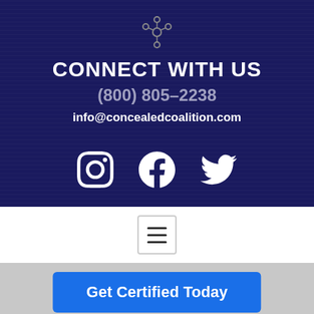[Figure (logo): Network/people connection icon in grey, small circular nodes connected]
CONNECT WITH US
(800) 805-2238
info@concealedcoalition.com
[Figure (illustration): Three social media icons: Instagram, Facebook, Twitter - white on dark navy background]
[Figure (illustration): Hamburger menu icon in a rounded rectangle box]
[Figure (logo): CONCEALED text logo partially visible with target/crosshair icon replacing the O]
Get Certified Today